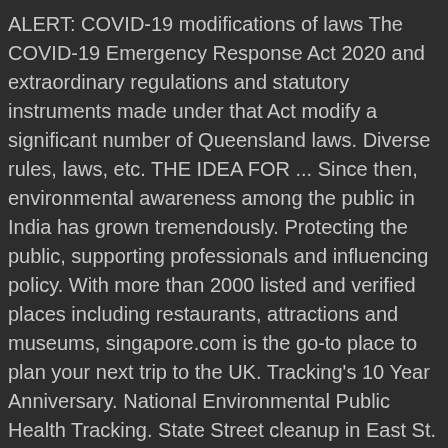ALERT: COVID-19 modifications of laws The COVID-19 Emergency Response Act 2020 and extraordinary regulations and statutory instruments made under that Act modify a significant number of Queensland laws. Diverse rules, laws, etc. THE IDEA FOR ... Since then, environmental awareness among the public in India has grown tremendously. Protecting the public, supporting professionals and influencing policy. With more than 2000 listed and verified places including restaurants, attractions and museums, singapore.com is the go-to place to plan your next trip to the UK. Tracking's 10 Year Anniversary. National Environmental Public Health Tracking. State Street cleanup in East St. Louis aims to bring awareness about environmental racism By DeAsia Paige. Earth Day 1970 would come to provide a voice to this emerging environmental consciousness, and putting environmental concerns on the front page. Learn more about the Tracking Program. Introduction. The bill authorizing funds for 1976 provided that no appropriation could be made to EPA for